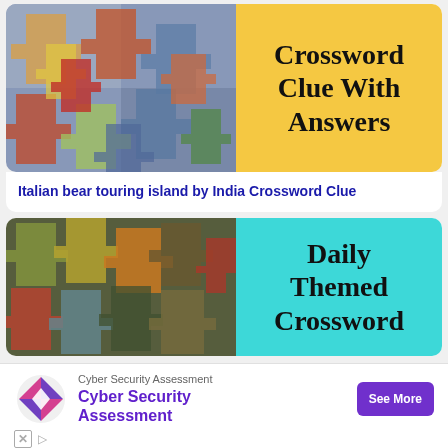[Figure (photo): Scattered colorful jigsaw puzzle pieces]
Crossword Clue With Answers
Italian bear touring island by India Crossword Clue
[Figure (photo): Colorful jigsaw puzzle pieces stacked together]
Daily Themed Crossword
[Figure (other): Advertisement: Cyber Security Assessment with See More button]
Cyber Security Assessment